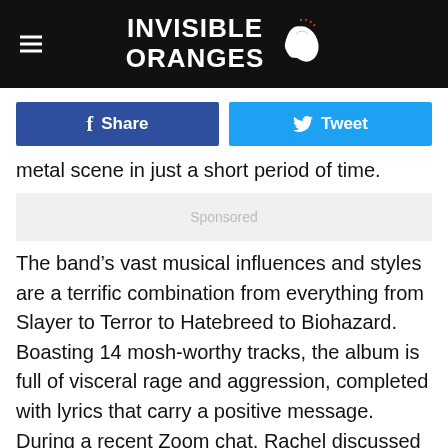INVISIBLE ORANGES
[Figure (other): Facebook Share button and Twitter Tweet button]
metal scene in just a short period of time.
Sponsored
The band’s vast musical influences and styles are a terrific combination from everything from Slayer to Terror to Hatebreed to Biohazard. Boasting 14 mosh-worthy tracks, the album is full of visceral rage and aggression, completed with lyrics that carry a positive message. During a recent Zoom chat, Rachel discussed her musical origins, a touching story about recently departed Trevor Strnad and how she came to join Cage Fight, her “day job” as a tattoo artist and more.